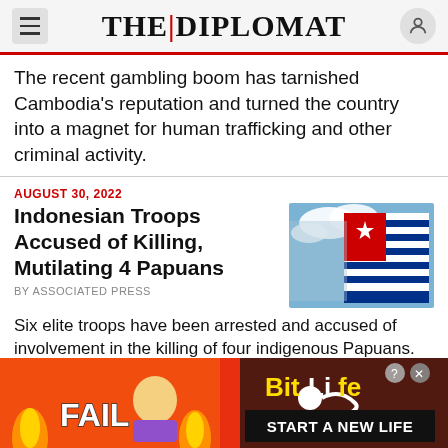THE|DIPLOMAT
The recent gambling boom has tarnished Cambodia's reputation and turned the country into a magnet for human trafficking and other criminal activity.
AUGUST 30, 2022
Indonesian Troops Accused of Killing, Mutilating 4 Papuans
[Figure (photo): Photo of a blue and white striped flag with a red star, likely the West Papua Morning Star flag, against a cloudy sky.]
By ASSOCIATED PRESS
Six elite troops have been arrested and accused of involvement in the killing of four indigenous Papuans.
[Figure (infographic): BitLife advertisement banner with FAIL text, cartoon character, flames, and START A NEW LIFE text on red/orange background.]